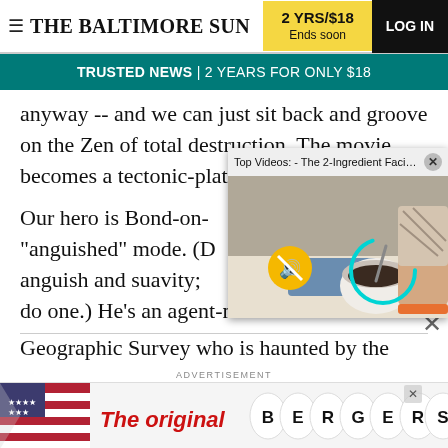THE BALTIMORE SUN — 2 YRS/$18 Ends soon — LOG IN
TRUSTED NEWS | 2 YEARS FOR ONLY $18
anyway -- and we can just sit back and groove on the Zen of total destruction. The movie becomes a tectonic-plate pie fig... town.
[Figure (screenshot): Embedded video popup titled 'Top Videos: - The 2-Ingredient Facial Sc...' showing a cooking/beauty video with a person mixing ingredients in a bowl, with a mute button overlay and loading spinner.]
Our hero is Bond-on-... "anguished" mode. (D... anguish and suavity;... do one.) He's an agent-man for the National Geographic Survey who is haunted by the death of his...
ADVERTISEMENT
[Figure (photo): Advertisement banner: 'The original BERGERS' with American flag imagery and oval letter logos.]